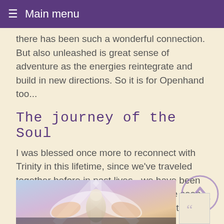≡ Main menu
there has been such a wonderful connection. But also unleashed is great sense of adventure as the energies reintegrate and build in new directions. So it is for Openhand too...
The journey of the Soul
I was blessed once more to reconnect with Trinity in this lifetime, since we've traveled together before in past lives - we have been what you might call 'soulmates'. We've seen times of pure joy, love and ecstacy, but also ones of great hardship in the turbulent history of Gaia. On more than one occasion we've been separated in difficult circumstances.
[Figure (illustration): Ethereal illustration of angelic or spiritual figures with wings in a light blue and purple sky, suggesting a spiritual journey or soul connection.]